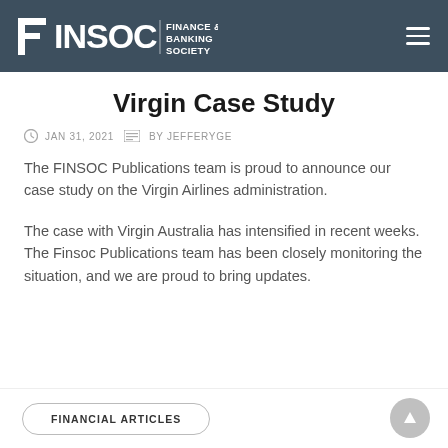FINSOC FINANCE & BANKING SOCIETY
Virgin Case Study
JAN 31, 2021  BY JEFFERYGE
The FINSOC Publications team is proud to announce our case study on the Virgin Airlines administration.
The case with Virgin Australia has intensified in recent weeks. The Finsoc Publications team has been closely monitoring the situation, and we are proud to bring updates.
FINANCIAL ARTICLES